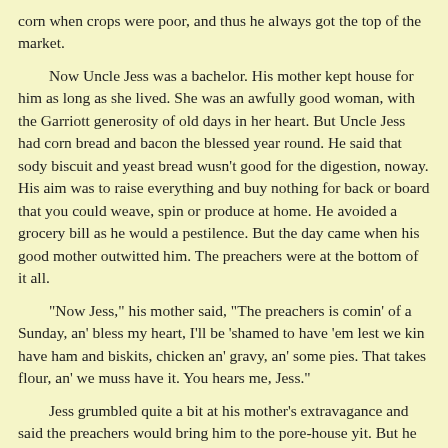corn when crops were poor, and thus he always got the top of the market.
Now Uncle Jess was a bachelor. His mother kept house for him as long as she lived. She was an awfully good woman, with the Garriott generosity of old days in her heart. But Uncle Jess had corn bread and bacon the blessed year round. He said that sody biscuit and yeast bread wusn't good for the digestion, noway. His aim was to raise everything and buy nothing for back or board that you could weave, spin or produce at home. He avoided a grocery bill as he would a pestilence. But the day came when his good mother outwitted him. The preachers were at the bottom of it all.
"Now Jess," his mother said, "The preachers is comin' of a Sunday, an' bless my heart, I'll be 'shamed to have 'em lest we kin have ham and biskits, chicken an' gravy, an' some pies. That takes flour, an' we muss have it. You hears me, Jess."
Jess grumbled quite a bit at his mother's extravagance and said the preachers would bring him to the pore-house yit. But he put one of his nephews on a mule with a bag of wheat and this injunction: "Now, se here, young'n; you takes that wheat to mill and swaps it for flour. An' you bring back the bran. Hear me?'